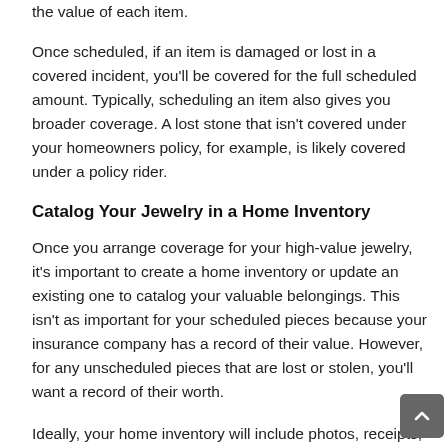the value of each item.
Once scheduled, if an item is damaged or lost in a covered incident, you'll be covered for the full scheduled amount. Typically, scheduling an item also gives you broader coverage. A lost stone that isn't covered under your homeowners policy, for example, is likely covered under a policy rider.
Catalog Your Jewelry in a Home Inventory
Once you arrange coverage for your high-value jewelry, it's important to create a home inventory or update an existing one to catalog your valuable belongings. This isn't as important for your scheduled pieces because your insurance company has a record of their value. However, for any unscheduled pieces that are lost or stolen, you'll want a record of their worth.
Ideally, your home inventory will include photos, receipts, appraisals, descriptions, brand names, etc. of all valuable personal property, not just your jewelry. That way, if there's